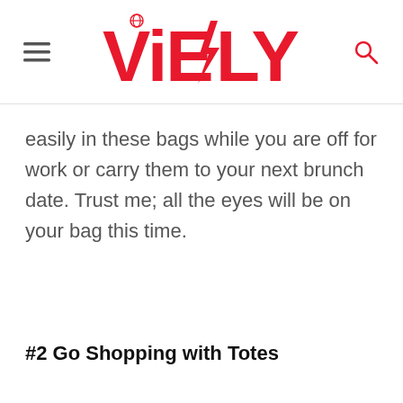ViEBLY
easily in these bags while you are off for work or carry them to your next brunch date. Trust me; all the eyes will be on your bag this time.
#2 Go Shopping with Totes